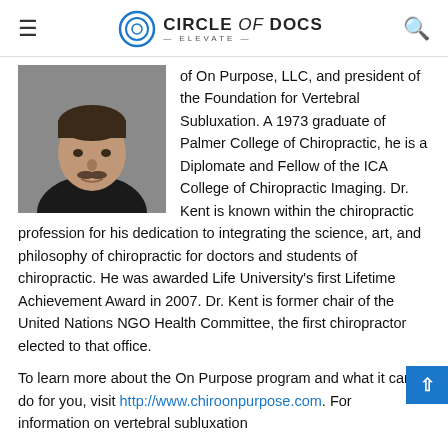Circle of Docs — Elevate
[Figure (photo): Headshot of Dr. Kent, a middle-aged man with a mustache wearing a dark shirt, against a grey background.]
of On Purpose, LLC, and president of the Foundation for Vertebral Subluxation. A 1973 graduate of Palmer College of Chiropractic, he is a Diplomate and Fellow of the ICA College of Chiropractic Imaging. Dr. Kent is known within the chiropractic profession for his dedication to integrating the science, art, and philosophy of chiropractic for doctors and students of chiropractic. He was awarded Life University's first Lifetime Achievement Award in 2007. Dr. Kent is former chair of the United Nations NGO Health Committee, the first chiropractor elected to that office.
To learn more about the On Purpose program and what it can do for you, visit http://www.chiroonpurpose.com. For information on vertebral subluxation...